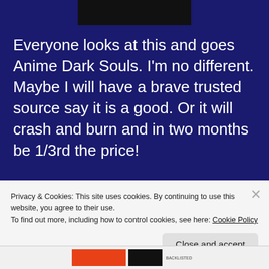Everyone looks at this and goes Anime Dark Souls. I'm no different. Maybe I will have a brave trusted source say it is a good. Or it will crash and burn and in two months be 1/3rd the price!
Zettai Zetsumei Toshi 4 Plus Summer Memories
Privacy & Cookies: This site uses cookies. By continuing to use this website, you agree to their use.
To find out more, including how to control cookies, see here: Cookie Policy